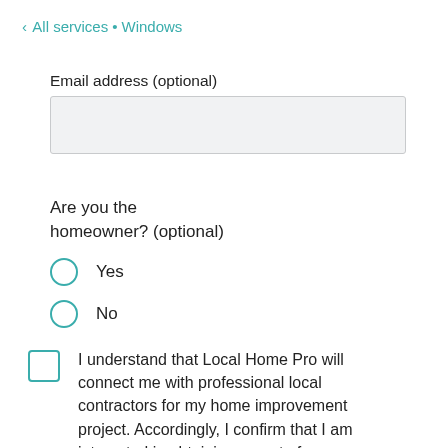< All services • Windows
Email address (optional)
Are you the homeowner? (optional)
Yes
No
I understand that Local Home Pro will connect me with professional local contractors for my home improvement project. Accordingly, I confirm that I am interested in obtaining a quote for products and services from Local Home